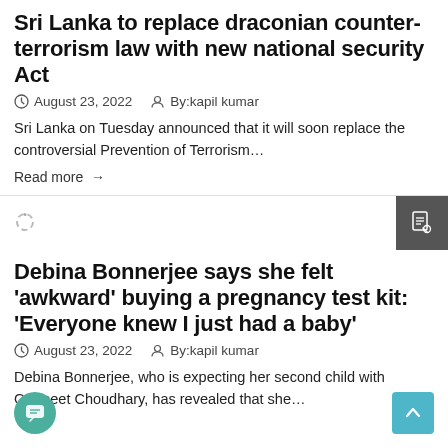Sri Lanka to replace draconian counter-terrorism law with new national security Act
August 23, 2022   By:kapil kumar
Sri Lanka on Tuesday announced that it will soon replace the controversial Prevention of Terrorism…
Read more →
Debina Bonnerjee says she felt 'awkward' buying a pregnancy test kit: 'Everyone knew I just had a baby'
August 23, 2022   By:kapil kumar
Debina Bonnerjee, who is expecting her second child with Gurmeet Choudhary, has revealed that she…